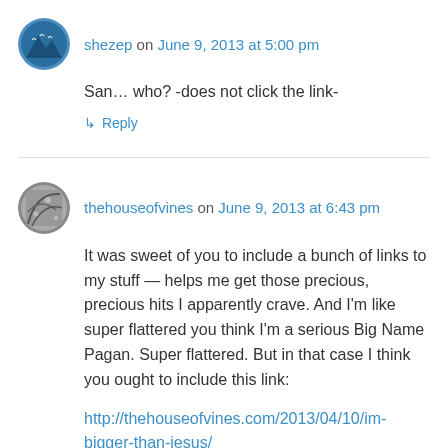shezep on June 9, 2013 at 5:00 pm
San… who? -does not click the link-
↳ Reply
thehouseofvines on June 9, 2013 at 6:43 pm
It was sweet of you to include a bunch of links to my stuff — helps me get those precious, precious hits I apparently crave. And I'm like super flattered you think I'm a serious Big Name Pagan. Super flattered. But in that case I think you ought to include this link:
http://thehouseofvines.com/2013/04/10/im-bigger-than-jesus/